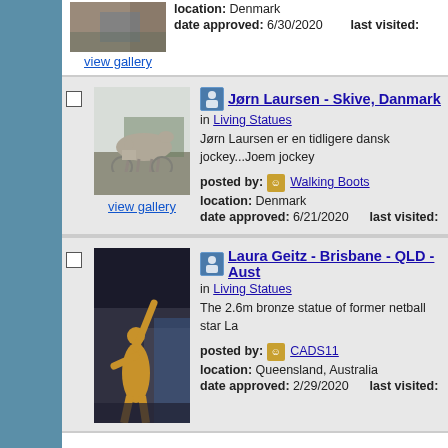[Figure (photo): Partial view of a stone/cobblestone photo at the top]
location: Denmark
date approved: 6/30/2020    last visited:
view gallery
[Figure (photo): Horse-drawn sulky jockey statue outdoors in Denmark]
Jørn Laursen - Skive, Danmark
in Living Statues
Jørn Laursen er en tidligere dansk jockey...Joem jockey
posted by: Walking Boots
location: Denmark
date approved: 6/21/2020    last visited:
view gallery
[Figure (photo): Bronze statue of Laura Geitz, former netball star, arms raised, in Brisbane QLD Australia]
Laura Geitz - Brisbane - QLD - Aust
in Living Statues
The 2.6m bronze statue of former netball star La
posted by: CADS11
location: Queensland, Australia
date approved: 2/29/2020    last visited: